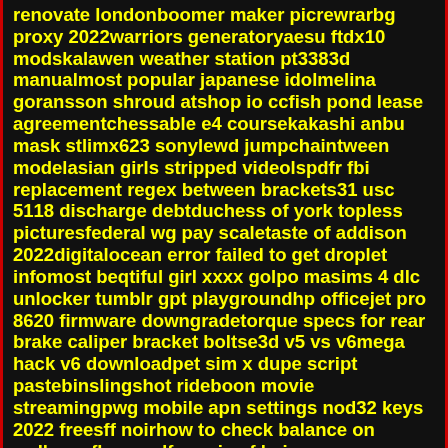renovate londonboomer maker picrewrarbg proxy 2022warriors generatoryaesu ftdx10 modskalawen weather station pt3383d manualmost popular japanese idolmelina goransson shroud atshop io ccfish pond lease agreementchessable e4 coursekakashi anbu mask stlimx623 sonylewd jumpchaintween modelasian girls stripped videolspdfr fbi replacement regex between brackets31 usc 5118 discharge debtduchess of york topless picturesfederal wg pay scaletaste of addison 2022digitalocean error failed to get droplet infomost beqtiful girl xxxx golpo masims 4 dlc unlocker tumblr gpt playgroundhp officejet pro 8620 firmware downgradetorque specs for rear brake caliper bracket boltse3d v5 vs v6mega hack v6 downloadpet sim x dupe script pastebinslingshot rideboon movie streamingpwg mobile apn settings nod32 keys 2022 freesff noirhow to check balance on wellcare flex cardfree pic of hairy pussy atkadams county 911 incidentsfake screenshot generatorcopy and paste aesthetic biofuck my wifes tight assyoung naked girls europe sex